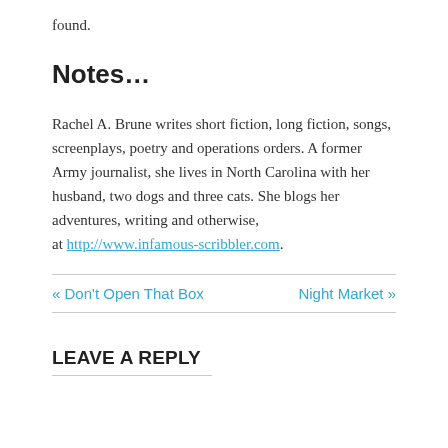found.
Notes…
Rachel A. Brune writes short fiction, long fiction, songs, screenplays, poetry and operations orders. A former Army journalist, she lives in North Carolina with her husband, two dogs and three cats. She blogs her adventures, writing and otherwise, at http://www.infamous-scribbler.com.
« Don't Open That Box
Night Market »
LEAVE A REPLY